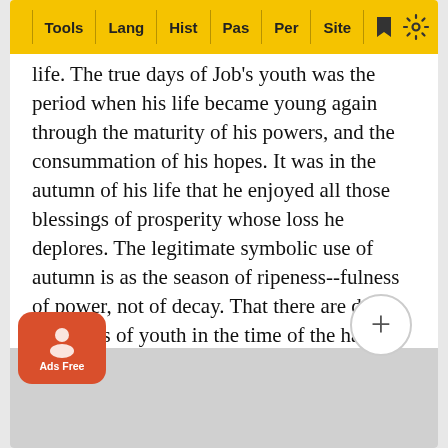Tools | Lang | Hist | Pas | Per | Site
life. The true days of Job's youth was the period when his life became young again through the maturity of his powers, and the consummation of his hopes. It was in the autumn of his life that he enjoyed all those blessings of prosperity whose loss he deplores. The legitimate symbolic use of autumn is as the season of ripeness--fulness of power, not of decay. That there are days and signs of youth in the time of the harvest and vintage of life everyone can testify. The autumn fields are “happy” with the flowers that tell of spring, with the remembrance of days that are no more. True, indeed, the autumn crocus is not the same flower as the spring crocus. It has hues deeper and more intense. It speaks of change and decay. So the joys of our early life, which we recall in late years, are not the same as when they stirred our young d; we colour them with the deeper and tenderer h own spirit. In the physical sphere of man there are numerous instances of the spring crocus blooming again in the au young we